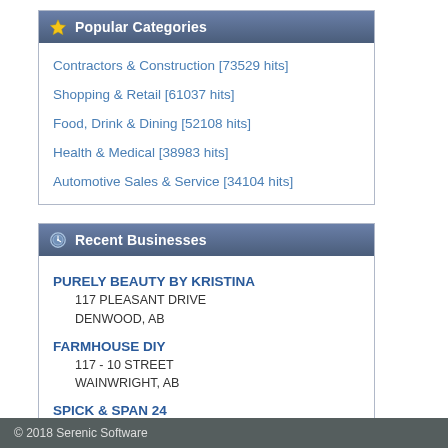Popular Categories
Contractors & Construction [73529 hits]
Shopping & Retail [61037 hits]
Food, Drink & Dining [52108 hits]
Health & Medical [38983 hits]
Automotive Sales & Service [34104 hits]
Recent Businesses
PURELY BEAUTY BY KRISTINA
117 PLEASANT DRIVE
DENWOOD, AB
FARMHOUSE DIY
117 - 10 STREET
WAINWRIGHT, AB
SPICK & SPAN 24
WAINWRIGHT, AB
IRON CLAW CONSTRUCTION
WAINWRIGHT, AB
SENTRY SECURITY AND TECHNOLOGY
WAINWRIGHT, AB
© 2018 Serenic Software